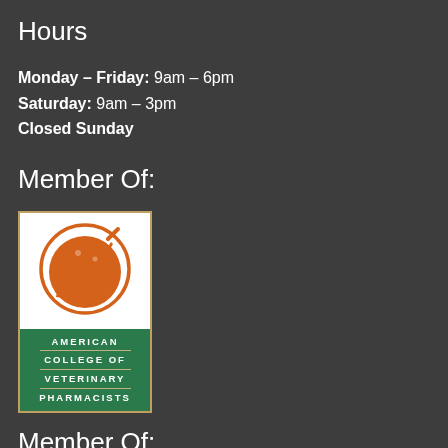Hours
Monday – Friday: 9am – 6pm
Saturday: 9am – 3pm
Closed Sunday
Member Of:
[Figure (logo): American College of Veterinary Pharmacists logo — orange circle with dog and cat silhouettes and mortar-and-pestle, above a green rectangle with the organization name in white capital letters.]
Member Of: